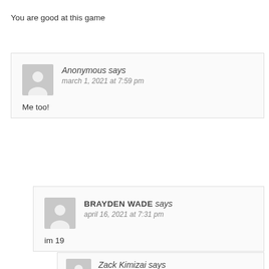You are good at this game
Anonymous says
march 1, 2021 at 7:59 pm
Me too!
BRAYDEN WADE says
april 16, 2021 at 7:31 pm
im 19
Zack Kimizai says